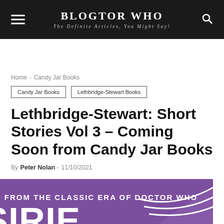BLOGTOR WHO — The Definite Articles, You Might Say!
Home › Candy Jar Books
Candy Jar Books
Lethbridge-Stewart Books
Lethbridge-Stewart: Short Stories Vol 3 – Coming Soon from Candy Jar Books
By Peter Nolan - 11/10/2021
[Figure (photo): Purple book cover banner reading 'FROM THE CLASSIC ERA OF DOCTOR WHO' for Lethbridge-Stewart Short Stories Vol 3]